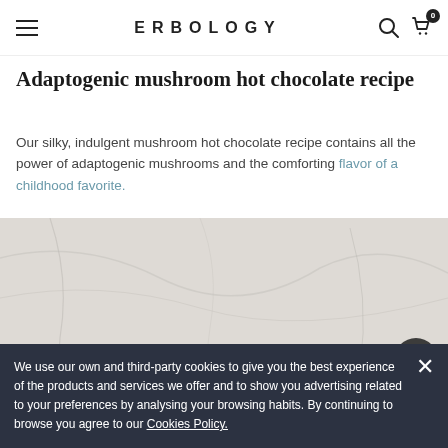ERBOLOGY
Adaptogenic mushroom hot chocolate recipe
Our silky, indulgent mushroom hot chocolate recipe contains all the power of adaptogenic mushrooms and the comforting flavor of a childhood favorite.
[Figure (photo): Photo of a hot chocolate drink on a marble surface, viewed from above, partially visible at the bottom of the page.]
We use our own and third-party cookies to give you the best experience of the products and services we offer and to show you advertising related to your preferences by analysing your browsing habits. By continuing to browse you agree to our Cookies Policy.